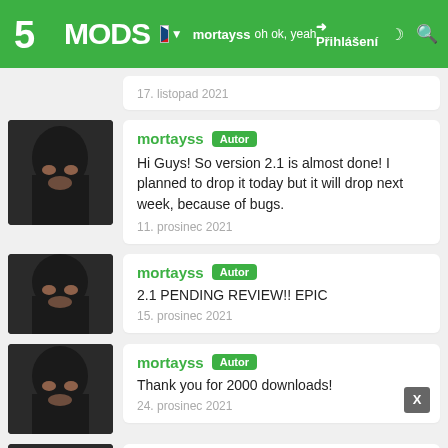5MODS | mortayss oh ok, yeah previous version worked just — Přihlášení
17. listopad 2021
mortayss Autor
Hi Guys! So version 2.1 is almost done! I planned to drop it today but it will drop next week, because of bugs.
11. prosinec 2021
mortayss Autor
2.1 PENDING REVIEW!! EPIC
15. prosinec 2021
mortayss Autor
Thank you for 2000 downloads!
24. prosinec 2021
mortayss Autor